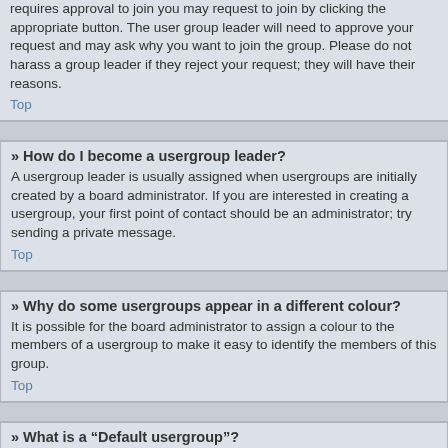requires approval to join you may request to join by clicking the appropriate button. The user group leader will need to approve your request and may ask why you want to join the group. Please do not harass a group leader if they reject your request; they will have their reasons.
Top
» How do I become a usergroup leader?
A usergroup leader is usually assigned when usergroups are initially created by a board administrator. If you are interested in creating a usergroup, your first point of contact should be an administrator; try sending a private message.
Top
» Why do some usergroups appear in a different colour?
It is possible for the board administrator to assign a colour to the members of a usergroup to make it easy to identify the members of this group.
Top
» What is a “Default usergroup”?
If you are a member of more than one usergroup, your default is used to determine which group colour and group rank should be shown for you by default. The board administrator may grant you permission to change your default usergroup via your User Control